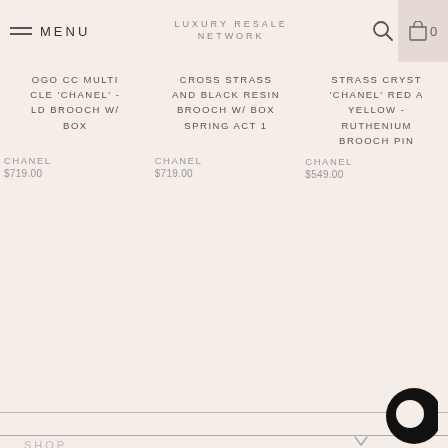MENU | LUXURY RESALE NETWORK | 0
OGO CC MULTI CLE 'CHANEL' - LD BROOCH W/ BOX
CROSS STRASS AND BLACK RESIN BROOCH W/ BOX SPRING ACT 1
STRASS CRYST 'CHANEL' RED A YELLOW - RUTHENIUM BROOCH PIN
CHANEL
$719.00
CHANEL
$719.00
CHANEL
$549.00
SHOP